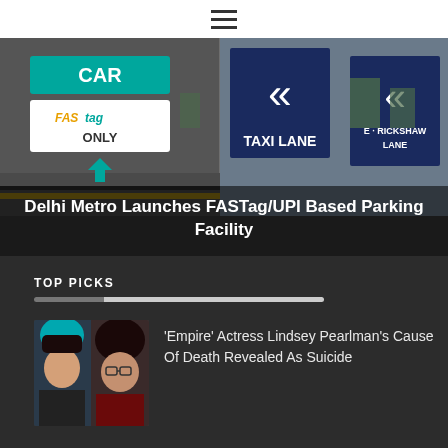[Figure (photo): Hamburger/menu icon (three horizontal lines) on a white navigation bar]
[Figure (photo): Delhi Metro parking facility with FASTag/UPI signage, showing signs for CAR, FASTag ONLY, TAXI LANE, and E-RICKSHAW LANE]
Delhi Metro Launches FASTag/UPI Based Parking Facility
TOP PICKS
[Figure (photo): Two thumbnail images: one of a woman with dark hair and teal highlights, another of a woman with dark hair and glasses]
'Empire' Actress Lindsey Pearlman's Cause Of Death Revealed As Suicide